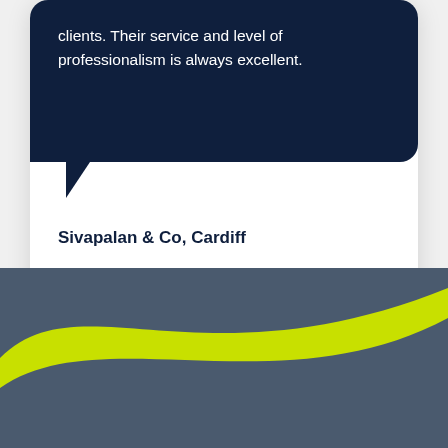clients. Their service and level of professionalism is always excellent.
Sivapalan & Co, Cardiff
[Figure (illustration): Pagination indicator with two dots: one dark navy (active) and one grey (inactive)]
[Figure (illustration): Decorative bottom section with a yellow-green (lime) curved swoosh wave over a dark slate-blue background]